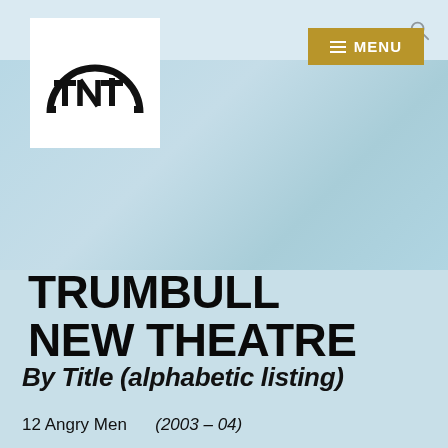[Figure (logo): Trumbull New Theatre logo: black semicircle with 'tnt' letters and 'TRUMBULL NEW THEATRE' text around the arc, on white background]
TRUMBULL NEW THEATRE
By Title (alphabetic listing)
12 Angry Men    (2003 – 04)